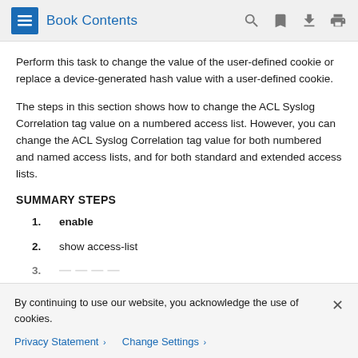Book Contents
Perform this task to change the value of the user-defined cookie or replace a device-generated hash value with a user-defined cookie.
The steps in this section shows how to change the ACL Syslog Correlation tag value on a numbered access list. However, you can change the ACL Syslog Correlation tag value for both numbered and named access lists, and for both standard and extended access lists.
SUMMARY STEPS
1. enable
2. show access-list
By continuing to use our website, you acknowledge the use of cookies.
Privacy Statement > Change Settings >